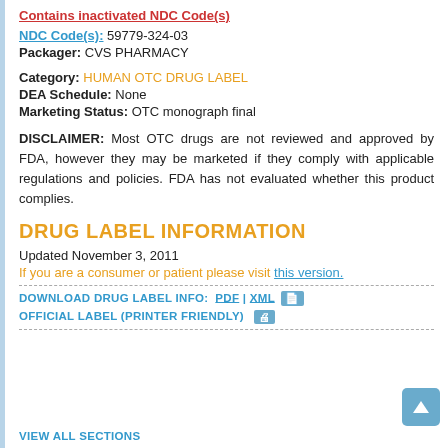Contains inactivated NDC Code(s)
NDC Code(s): 59779-324-03
Packager: CVS PHARMACY
Category: HUMAN OTC DRUG LABEL
DEA Schedule: None
Marketing Status: OTC monograph final
DISCLAIMER: Most OTC drugs are not reviewed and approved by FDA, however they may be marketed if they comply with applicable regulations and policies. FDA has not evaluated whether this product complies.
DRUG LABEL INFORMATION
Updated November 3, 2011
If you are a consumer or patient please visit this version.
DOWNLOAD DRUG LABEL INFO:  PDF  |  XML
OFFICIAL LABEL (PRINTER FRIENDLY)
VIEW ALL SECTIONS